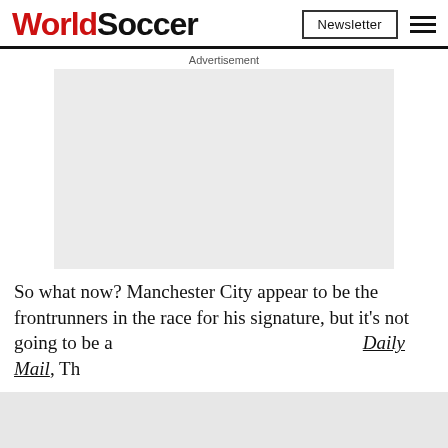WorldSoccer | Newsletter
Advertisement
[Figure (other): Grey advertisement placeholder box]
So what now? Manchester City appear to be the frontrunners in the race for his signature, but it's not going to be an... Daily Mail, Th... art of a